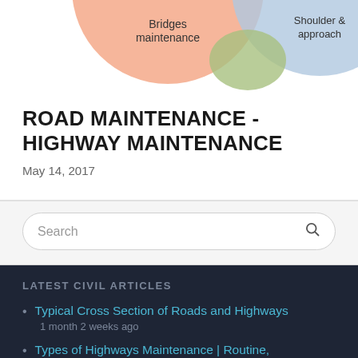[Figure (illustration): Partial view of a Venn diagram showing overlapping colored circles labeled 'Bridges maintenance' (salmon/orange) and 'Shoulder & approach' (light blue) with a green overlapping area in between.]
ROAD MAINTENANCE - HIGHWAY MAINTENANCE
May 14, 2017
[Figure (screenshot): Search bar with placeholder text 'Search' and a search icon on the right.]
LATEST CIVIL ARTICLES
Typical Cross Section of Roads and Highways
1 month 2 weeks ago
Types of Highways Maintenance | Routine,